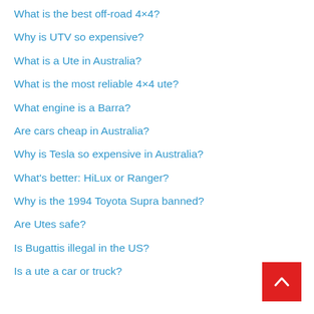What is the best off-road 4×4?
Why is UTV so expensive?
What is a Ute in Australia?
What is the most reliable 4×4 ute?
What engine is a Barra?
Are cars cheap in Australia?
Why is Tesla so expensive in Australia?
What's better: HiLux or Ranger?
Why is the 1994 Toyota Supra banned?
Are Utes safe?
Is Bugattis illegal in the US?
Is a ute a car or truck?
[Figure (other): Red back-to-top button with upward chevron arrow]